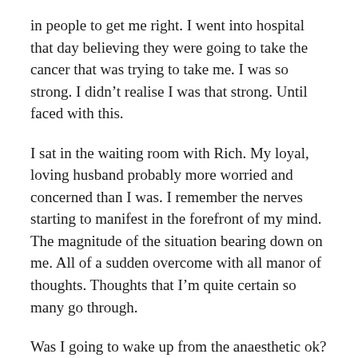in people to get me right. I went into hospital that day believing they were going to take the cancer that was trying to take me. I was so strong. I didn't realise I was that strong. Until faced with this.
I sat in the waiting room with Rich. My loyal, loving husband probably more worried and concerned than I was. I remember the nerves starting to manifest in the forefront of my mind. The magnitude of the situation bearing down on me. All of a sudden overcome with all manor of thoughts. Thoughts that I'm quite certain so many go through.
Was I going to wake up from the anaesthetic ok? Was I going to wake up in the middle of the operation? Were they going to get the cancer? What was I going to look like? Was I going to survive?